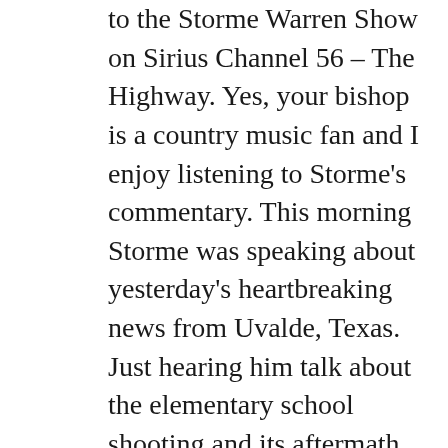to the Storme Warren Show on Sirius Channel 56 – The Highway. Yes, your bishop is a country music fan and I enjoy listening to Storme's commentary. This morning Storme was speaking about yesterday's heartbreaking news from Uvalde, Texas. Just hearing him talk about the elementary school shooting and its aftermath brought tears to my eyes. My heart is breaking for the parents and families of these young victims and their teacher and even typing these words I am having great difficulty keeping my emotions in check. I offer them my prayers, but I am afraid that this time that is not enough!

Storme talked about his own inability to speak about yesterday's tragedy (even that word doesn't seem strong enough) and the anger that he is trying to quell inside. As he said this, I realized I am having the same struggle. I really want to lash out over what has happened in